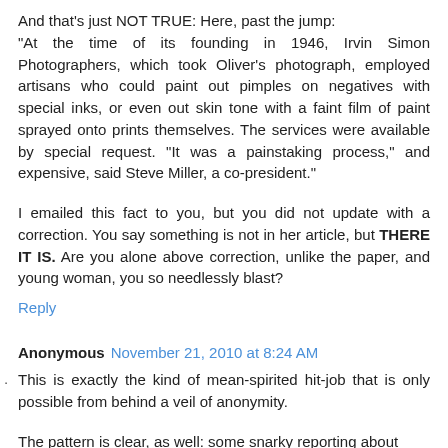And that's just NOT TRUE: Here, past the jump:
"At the time of its founding in 1946, Irvin Simon Photographers, which took Oliver's photograph, employed artisans who could paint out pimples on negatives with special inks, or even out skin tone with a faint film of paint sprayed onto prints themselves. The services were available by special request. "It was a painstaking process," and expensive, said Steve Miller, a co-president."
I emailed this fact to you, but you did not update with a correction. You say something is not in her article, but THERE IT IS. Are you alone above correction, unlike the paper, and young woman, you so needlessly blast?
Reply
Anonymous November 21, 2010 at 8:24 AM
This is exactly the kind of mean-spirited hit-job that is only possible from behind a veil of anonymity.
The pattern is clear, as well: some snarky reporting about